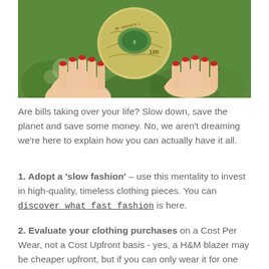[Figure (photo): A pair of hands with red-painted nails holding a crumpled US dollar bill, with green foliage in the background.]
Are bills taking over your life? Slow down, save the planet and save some money. No, we aren't dreaming we're here to explain how you can actually have it all.
1. Adopt a 'slow fashion' – use this mentality to invest in high-quality, timeless clothing pieces. You can discover what fast fashion is here.
2. Evaluate your clothing purchases on a Cost Per Wear, not a Cost Upfront basis - yes, a H&M blazer may be cheaper upfront, but if you can only wear it for one season before it falls apart it works out more